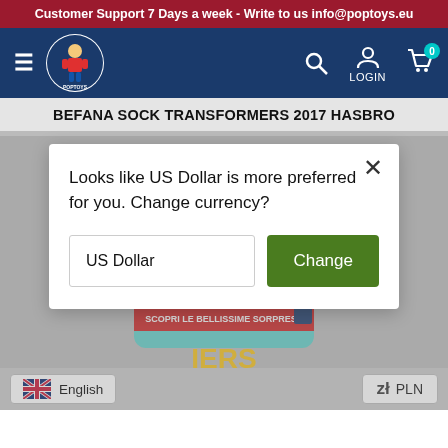Customer Support 7 Days a week - Write to us info@poptoys.eu
[Figure (logo): PopToys logo with superhero mascot in blue circle]
BEFANA SOCK TRANSFORMERS 2017 HASBRO
Looks like US Dollar is more preferred for you. Change currency?
US Dollar | Change
[Figure (photo): Transformers 2017 Hasbro Befana sock product packaging showing Transformers characters (Bumblebee etc.), teal/mint colored stocking with text SCOPRI LE BELLISSIME SORPRESE]
English | zł PLN